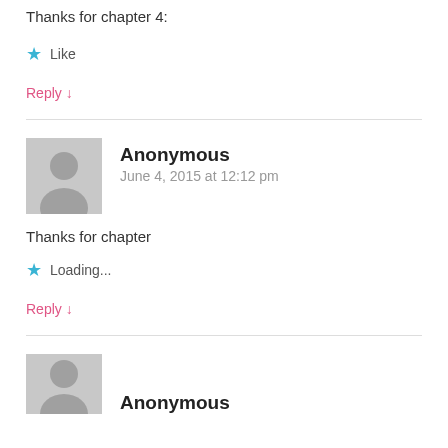Thanks for chapter 4:
★ Like
Reply ↓
Anonymous
June 4, 2015 at 12:12 pm
Thanks for chapter
★ Loading...
Reply ↓
Anonymous